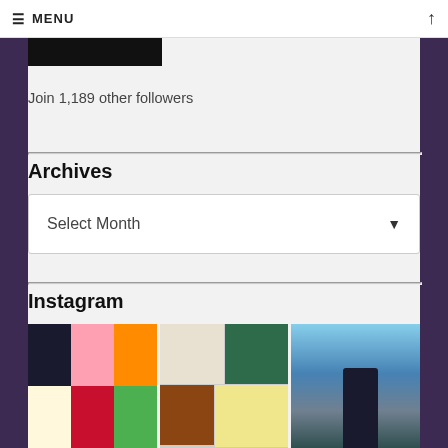≡ MENU ↑
[Figure (other): Black rectangular button/banner at top of content area]
Join 1,189 other followers
Archives
Select Month
Instagram
[Figure (photo): Instagram photo grid showing three columns: book covers collage (Mating in Captivity, The MisShape, Let's Get Physical and others), another collage of book covers (Greenlights, Strangers We Know by Elle Marr, and others), and a photo of city buildings against blue sky]